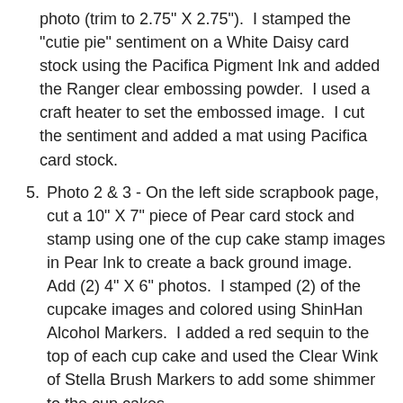photo (trim to 2.75" X 2.75").  I stamped the "cutie pie" sentiment on a White Daisy card stock using the Pacifica Pigment Ink and added the Ranger clear embossing powder.  I used a craft heater to set the embossed image.  I cut the sentiment and added a mat using Pacifica card stock.
5. Photo 2 & 3 - On the left side scrapbook page, cut a 10" X 7" piece of Pear card stock and stamp using one of the cup cake stamp images in Pear Ink to create a back ground image.  Add (2) 4" X 6" photos.  I stamped (2) of the cupcake images and colored using ShinHan Alcohol Markers.  I added a red sequin to the top of each cup cake and used the Clear Wink of Stella Brush Markers to add some shimmer to the cup cakes.
6. Photo 4, 5 & 6 - On the right side scrapbook page, cut a 10" X 8" piece of Pear card stock